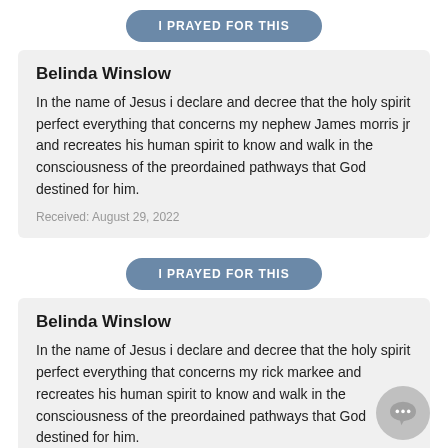I PRAYED FOR THIS
Belinda Winslow
In the name of Jesus i declare and decree that the holy spirit perfect everything that concerns my nephew James morris jr and recreates his human spirit to know and walk in the consciousness of the preordained pathways that God destined for him.
Received: August 29, 2022
I PRAYED FOR THIS
Belinda Winslow
In the name of Jesus i declare and decree that the holy spirit perfect everything that concerns my rick markee and recreates his human spirit to know and walk in the consciousness of the preordained pathways that God destined for him.
Received: August 29, 2022